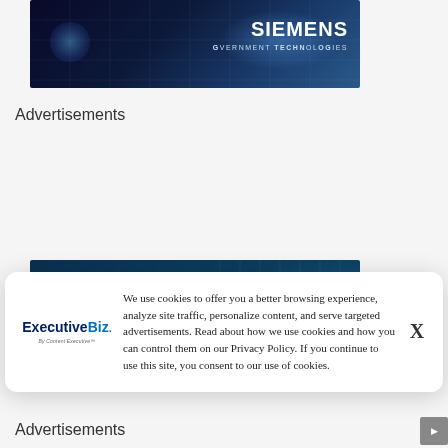[Figure (photo): Siemens Government Technologies advertisement banner with blue digital/tech background and glowing light effect, showing SIEMENS GOVERNMENT TECHNOLOGIES logo on the right side]
Advertisements
[Figure (photo): Advertisement banner with dark teal background. Text reads: 'FROM IDEA TO OPERATION' (in yellow-green), 'Get to the answer faster—when & where the mission demands it.' (in large white bold text). Partially visible text at bottom: 'Unify, ready, and secure your data']
We use cookies to offer you a better browsing experience, analyze site traffic, personalize content, and serve targeted advertisements. Read about how we use cookies and how you can control them on our Privacy Policy. If you continue to use this site, you consent to our use of cookies.
Advertisements